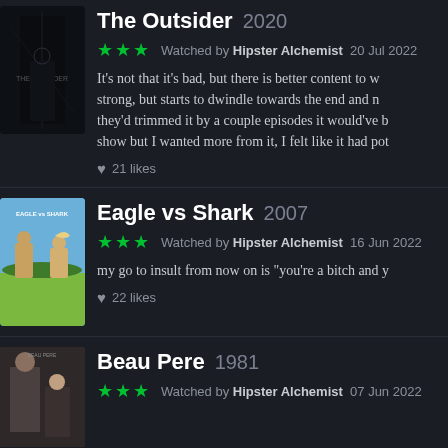The Outsider 2020
★★★ Watched by Hipster Alchemist 20 Jul 2022
It's not that it's bad, but there is better content to w... strong, but starts to dwindle towards the end and n... they'd trimmed it by a couple episodes it would've b... show but I wanted more from it, I felt like it had pot...
♥ 21 likes
Eagle vs Shark 2007
★★★ Watched by Hipster Alchemist 16 Jun 2022
my go to insult from now on is "you're a bitch and y...
♥ 22 likes
Beau Pere 1981
★★★ Watched by Hipster Alchemist 07 Jun 2022